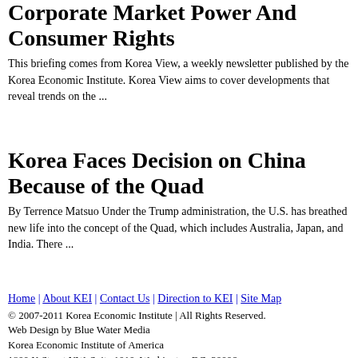Corporate Market Power And Consumer Rights
This briefing comes from Korea View, a weekly newsletter published by the Korea Economic Institute. Korea View aims to cover developments that reveal trends on the ...
Korea Faces Decision on China Because of the Quad
By Terrence Matsuo Under the Trump administration, the U.S. has breathed new life into the concept of the Quad, which includes Australia, Japan, and India. There ...
Home | About KEI | Contact Us | Direction to KEI | Site Map
© 2007-2011 Korea Economic Institute | All Rights Reserved.
Web Design by Blue Water Media
Korea Economic Institute of America
1800 K Street NW, Suite 1010, Washington DC, 20006
p. 202.464.1982 | f. 202.464.1987